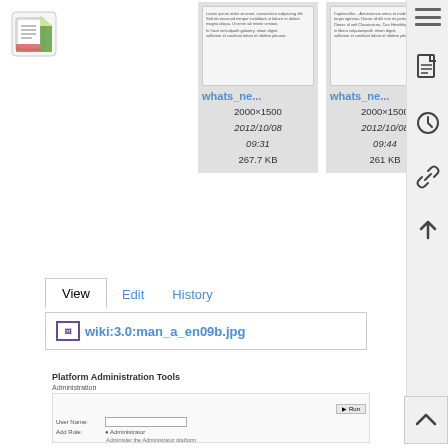[Figure (logo): Red and green wiki logo icon top left]
[Figure (screenshot): File card: whats_ne... 2000x1500, 2012/10/08 09:31, 267.7 KB]
[Figure (screenshot): File card: whats_ne... 2000x1500, 2012/10/08 09:44, 261 KB]
[Figure (screenshot): Right sidebar with hamburger menu and icons]
View
Edit
History
wiki:3.0:man_a_en09b.jpg
Platform Administration Tools
Administration
[Figure (screenshot): Platform Administration Tools form with Username, Add Role fields and radio options]